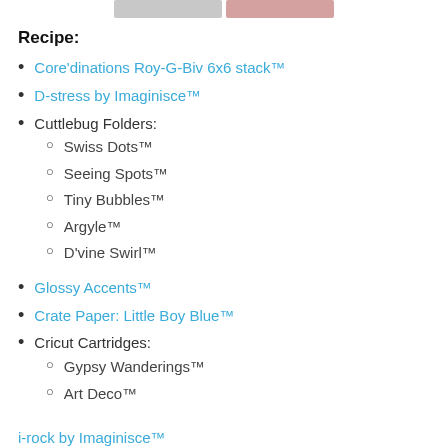[Figure (other): Partial image strip at top of page showing two color bars]
Recipe:
Core'dinations Roy-G-Biv 6x6 stack™
D-stress by Imaginisce™
Cuttlebug Folders:
Swiss Dots™
Seeing Spots™
Tiny Bubbles™
Argyle™
D'vine Swirl™
Glossy Accents™
Crate Paper: Little Boy Blue™
Cricut Cartridges:
Gypsy Wanderings™
Art Deco™
i-rock by Imaginisce™ (partial, cut off)